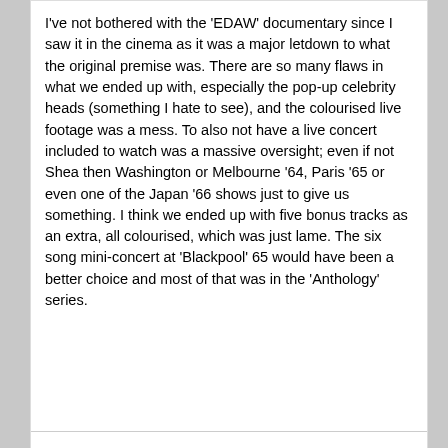I've not bothered with the 'EDAW' documentary since I saw it in the cinema as it was a major letdown to what the original premise was. There are so many flaws in what we ended up with, especially the pop-up celebrity heads (something I hate to see), and the colourised live footage was a mess. To also not have a live concert included to watch was a massive oversight; even if not Shea then Washington or Melbourne '64, Paris '65 or even one of the Japan '66 shows just to give us something. I think we ended up with five bonus tracks as an extra, all colourised, which was just lame. The six song mini-concert at 'Blackpool' 65 would have been a better choice and most of that was in the 'Anthology' series.
"I told you everything I could about me, Told you everything I could" ('Before Believing' - Emmylou Harris)
[Figure (infographic): Advertisement for a local business: Loyal logo, Ashburn location, OPEN 10AM-6PM, 43330 Junction Plaza, Suite 176, ... with navigation icon and ad controls (play/close buttons)]